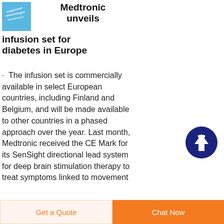[Figure (photo): Small thumbnail image with light blue background showing medical device components]
Medtronic unveils infusion set for diabetes in Europe
The infusion set is commercially available in select European countries, including Finland and Belgium, and will be made available to other countries in a phased approach over the year. Last month, Medtronic received the CE Mark for its SenSight directional lead system for deep brain stimulation therapy to treat symptoms linked to movement
[Figure (other): Dark navy blue circular scroll-to-top button with white upward arrow icon]
Get a Quote   Chat Now